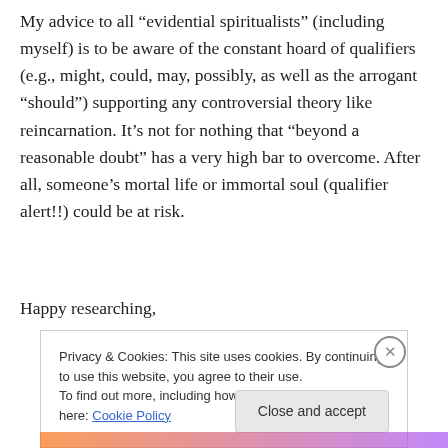My advice to all “evidential spiritualists” (including myself) is to be aware of the constant hoard of qualifiers (e.g., might, could, may, possibly, as well as the arrogant “should”) supporting any controversial theory like reincarnation. It’s not for nothing that “beyond a reasonable doubt” has a very high bar to overcome. After all, someone’s mortal life or immortal soul (qualifier alert!!) could be at risk.
Happy researching,
Privacy & Cookies: This site uses cookies. By continuing to use this website, you agree to their use.
To find out more, including how to control cookies, see here: Cookie Policy